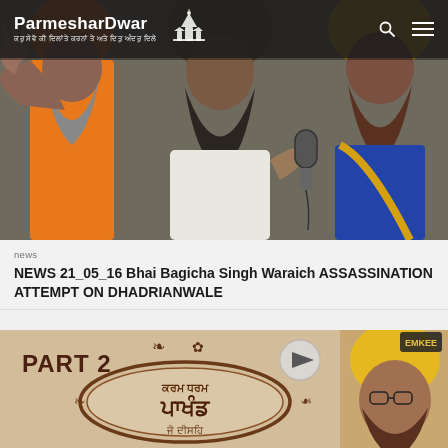ParmesharDwar
[Figure (photo): Three Sikh men, one raising his hand, one speaking into a microphone, wearing turbans of orange and yellow colors, photographed outdoors]
news
NEWS 21_05_16 Bhai Bagicha Singh Waraich ASSASSINATION ATTEMPT ON DHADRIANWALE
[Figure (photo): Promotional image with text 'PART 2' and Punjabi script, showing a Sikh preacher with yellow turban and glasses on the right side, ornate decorative oval frame with Punjabi text in the center, play button icon visible]